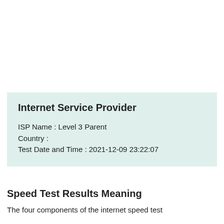Internet Service Provider
ISP Name : Level 3 Parent
Country :
Test Date and Time : 2021-12-09 23:22:07
Speed Test Results Meaning
The four components of the internet speed test